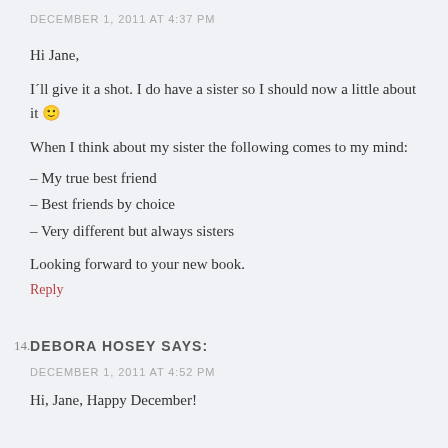DECEMBER 1, 2011 AT 4:37 PM
Hi Jane,
I´ll give it a shot. I do have a sister so I should now a little about it 🙂
When I think about my sister the following comes to my mind:
– My true best friend
– Best friends by choice
– Very different but always sisters
Looking forward to your new book.
Reply
14. DEBORA HOSEY SAYS:
DECEMBER 1, 2011 AT 4:52 PM
Hi, Jane, Happy December!